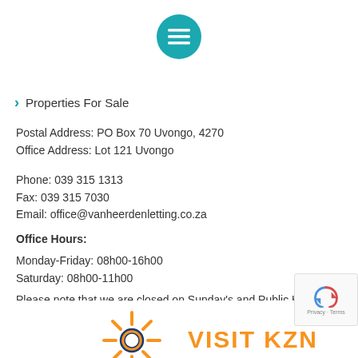[Figure (logo): Teal circular menu/hamburger icon with three white horizontal lines]
Properties For Sale
Postal Address: PO Box 70 Uvongo, 4270
Office Address: Lot 121 Uvongo
Phone: 039 315 1313
Fax: 039 315 7030
Email: office@vanheerdenletting.co.za
Office Hours:
Monday-Friday: 08h00-16h00
Saturday: 08h00-11h00
Please note that we are closed on Sunday's and Public Holiday's
[Figure (logo): Orange sun/star logo and orange VISIT KZN text at bottom of page]